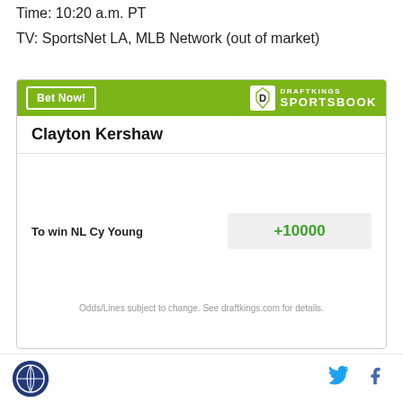Time: 10:20 a.m. PT
TV: SportsNet LA, MLB Network (out of market)
| Clayton Kershaw |  |
| --- | --- |
| To win NL Cy Young | +10000 |
Odds/Lines subject to change. See draftkings.com for details.